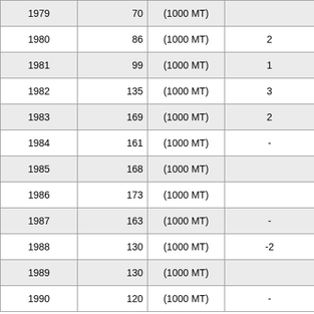| Year | Value | Unit | Other |
| --- | --- | --- | --- |
| 1979 | 70 | (1000 MT) |  |
| 1980 | 86 | (1000 MT) | 2 |
| 1981 | 99 | (1000 MT) | 1 |
| 1982 | 135 | (1000 MT) | 3 |
| 1983 | 169 | (1000 MT) | 2 |
| 1984 | 161 | (1000 MT) | - |
| 1985 | 168 | (1000 MT) |  |
| 1986 | 173 | (1000 MT) |  |
| 1987 | 163 | (1000 MT) | - |
| 1988 | 130 | (1000 MT) | -2 |
| 1989 | 130 | (1000 MT) |  |
| 1990 | 120 | (1000 MT) | - |